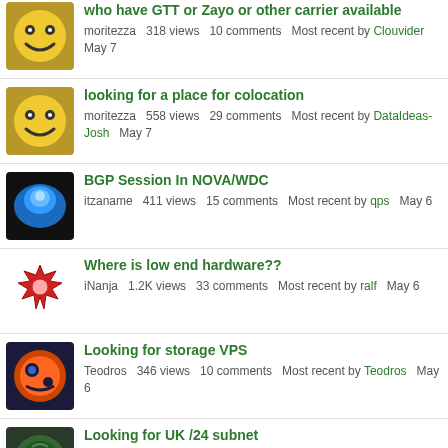who have GTT or Zayo or other carrier available | moritezza 318 views 10 comments Most recent by Clouvider May 7
looking for a place for colocation | moritezza 558 views 29 comments Most recent by DataIdeas-Josh May 7
BGP Session In NOVA/WDC | itzaname 411 views 15 comments Most recent by qps May 6
Where is low end hardware?? | iNanja 1.2K views 33 comments Most recent by ralf May 6
Looking for storage VPS | Teodros 346 views 10 comments Most recent by Teodros May 6
Looking for UK /24 subnet | ahrt 218 views 6 comments Most recent by MikePT May 5
Looking for a Taiwan VPS | brueggus 574 views 23 comments Most recent by angstrom May 5
Looking for Dedicated servers | thecodeassassin 280 views 7 comments Most recent by OBHost May 4
Buying back your "VPS 2018 Discovery SSD 1" OVH offer in SGP1/SGP2 datacenter